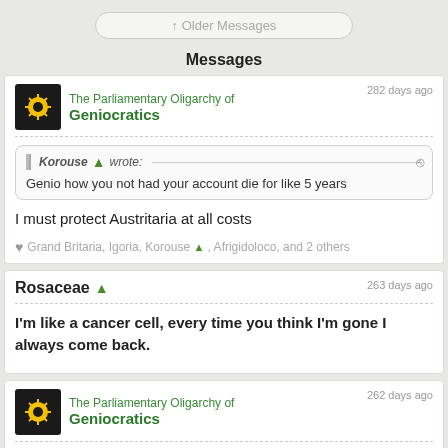↑ Older Messages
Messages
The Parliamentary Oligarchy of Geniocratics — 282 days ago
Korouse wrote: Genio how you not had your account die for like 5 years
I must protect Austritaria at all costs
❤ Grand Britaria, Igoria, Korouse, Afrigidoloco, and 2 others
Rosaceae — 263 days ago
I'm like a cancer cell, every time you think I'm gone I always come back.
The Parliamentary Oligarchy of Geniocratics — 262 days ago
Rosaceae wrote: I'm like a cancer cell, every time you think I'm gone I always come back.